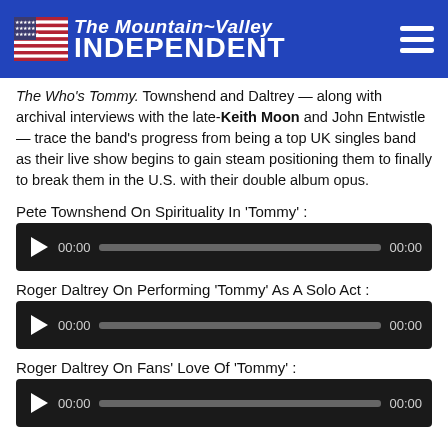The Mountain~Valley INDEPENDENT
The Who's Tommy. Townshend and Daltrey — along with archival interviews with the late-Keith Moon and John Entwistle — trace the band's progress from being a top UK singles band as their live show begins to gain steam positioning them to finally to break them in the U.S. with their double album opus.
Pete Townshend On Spirituality In ‘Tommy’ :
[Figure (other): Audio player with play button, time display 00:00, progress bar, and end time 00:00]
Roger Daltrey On Performing ‘Tommy’ As A Solo Act :
[Figure (other): Audio player with play button, time display 00:00, progress bar, and end time 00:00]
Roger Daltrey On Fans’ Love Of ‘Tommy’ :
[Figure (other): Audio player with play button, time display 00:00, progress bar, and end time 00:00]